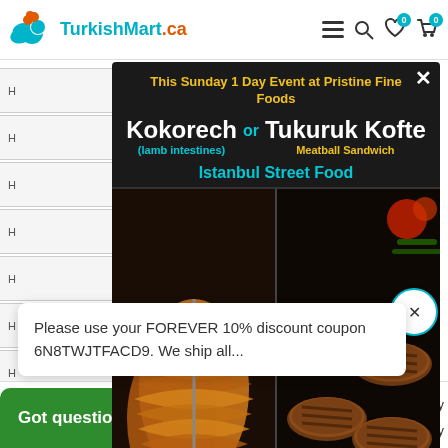[Figure (screenshot): TurkishMart.ca website header with logo, hamburger menu, search, wishlist (0), and cart (0) icons]
[Figure (screenshot): Popup modal on dark background advertising a Sunday 1 Day Event at Pristine Fine Foods: Kokorech (lamb intestines) or Tukuruk Kofte Meatball Sandwich - Istanbul Street Food, with photos of the two foods side by side]
Please use your FOREVER 10% discount coupon 6N8TWJTFACD9. We ship all...
Got questions?
eese Where To Buy
hoose, Calgary